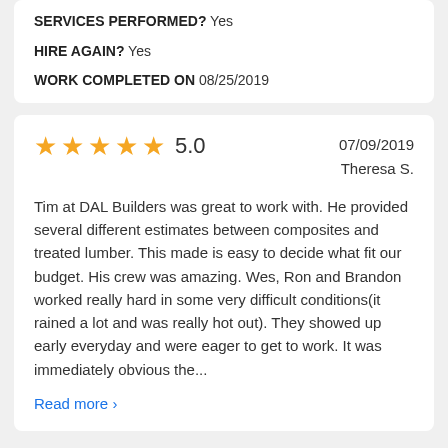SERVICES PERFORMED? Yes
HIRE AGAIN? Yes
WORK COMPLETED ON 08/25/2019
★★★★★ 5.0   07/09/2019  Theresa S.
Tim at DAL Builders was great to work with. He provided several different estimates between composites and treated lumber. This made is easy to decide what fit our budget. His crew was amazing. Wes, Ron and Brandon worked really hard in some very difficult conditions(it rained a lot and was really hot out). They showed up early everyday and were eager to get to work. It was immediately obvious the...
Read more ›